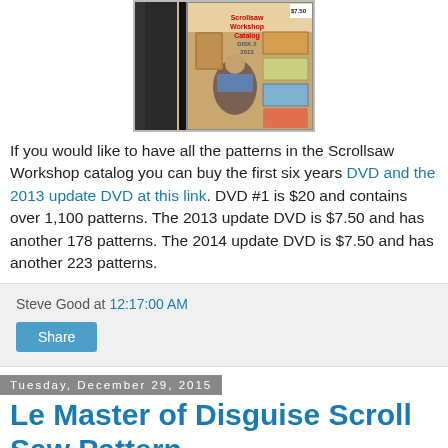[Figure (photo): Scrollsaw Workshop catalog DVD cover image showing a person holding wood patterns, with price tag $7.50]
If you would like to have all the patterns in the Scrollsaw Workshop catalog you can buy the first six years DVD and the 2013 update DVD at this link. DVD #1 is $20 and contains over 1,100 patterns. The 2013 update DVD is $7.50 and has another 178 patterns. The 2014 update DVD is $7.50 and has another 223 patterns.
Steve Good at 12:17:00 AM
Share
Tuesday, December 29, 2015
Le Master of Disguise Scroll Saw Pattern.